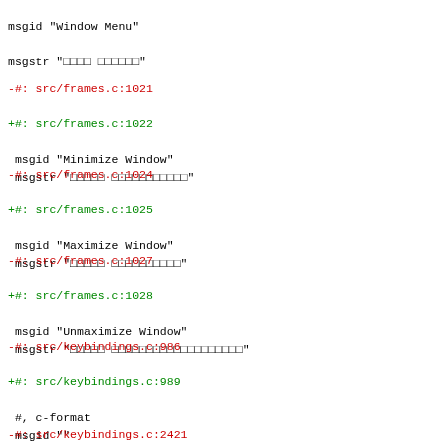msgid "Window Menu"
msgstr "ⵜⴰⵙⵏⵜⴰⵢⵜ ⵏ ⵜⴰⴳⴳⴰⵍⵜ"
-#: src/frames.c:1021
+#: src/frames.c:1022
 msgid "Minimize Window"
 msgstr "ⵙⵎⵓⵙⵙⵏ ⵜⴰⴳⴳⴰⵍⵜ"
-#: src/frames.c:1024
+#: src/frames.c:1025
 msgid "Maximize Window"
 msgstr "ⵙⵎⵓⵙⵙⵏ ⵜⴰⴳⴳⴰⵍⵜ"
-#: src/frames.c:1027
+#: src/frames.c:1028
 msgid "Unmaximize Window"
 msgstr "ⵙⵎⵓⵙⵙⵏ ⵜⴰⴳⴳⴰⵍⵜ"
-#: src/keybindings.c:986
+#: src/keybindings.c:989
 #, c-format
 msgid ""
 "Some other program is already using the key %s wit
 "binding\n"
 msgstr ""
-#: src/keybindings.c:2421
+#: src/keybindings.c:2518
 #, c-format
 msgid "Error launching metacity-dialog to print an